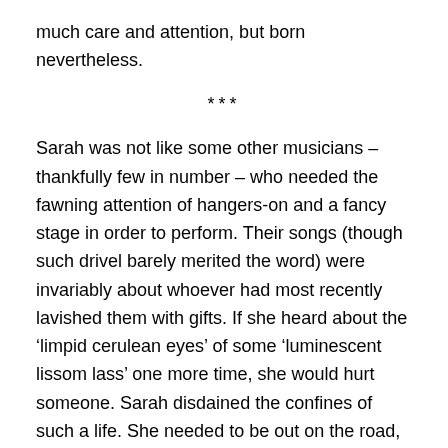much care and attention, but born nevertheless.
***
Sarah was not like some other musicians – thankfully few in number – who needed the fawning attention of hangers-on and a fancy stage in order to perform.  Their songs (though such drivel barely merited the word) were invariably about whoever had most recently lavished them with gifts.  If she heard about the ‘limpid cerulean eyes’ of some ‘luminescent lissom lass’ one more time, she would hurt someone.  Sarah disdained the confines of such a life.  She needed to be out on the road, to feel life where and when it happened, and not caged in some stultifying theatre where every note and movement was choreographed well ahead of time.  There was no inspiration for new material in such an atmosphere, and